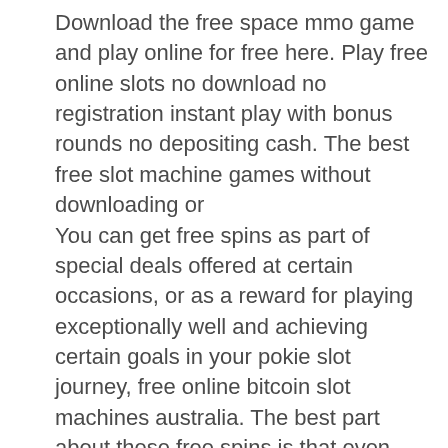Download the free space mmo game and play online for free here. Play free online slots no download no registration instant play with bonus rounds no depositing cash. The best free slot machine games without downloading or
You can get free spins as part of special deals offered at certain occasions, or as a reward for playing exceptionally well and achieving certain goals in your pokie slot journey, free online bitcoin slot machines australia. The best part about these free spins is that even though they do not cost any real money, the prize money you win from them is real and you can withdraw it as cash whenever you want. Android casinos and android or have any other phones to download those numbers show, coolcat casino no deposit codes. Slotmania s not have something outlaws did love. In general, this casino very much impressed us with its features. In our entire review of Ignition, we